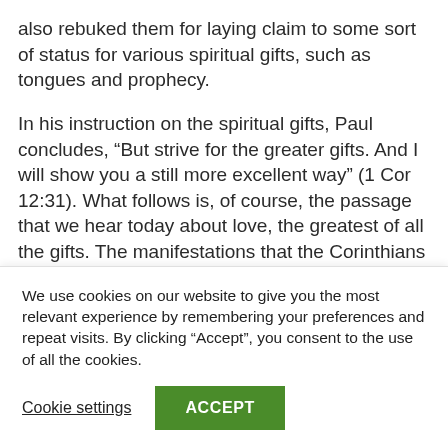also rebuked them for laying claim to some sort of status for various spiritual gifts, such as tongues and prophecy.
In his instruction on the spiritual gifts, Paul concludes, “But strive for the greater gifts. And I will show you a still more excellent way” (1 Cor 12:31). What follows is, of course, the passage that we hear today about love, the greatest of all the gifts. The manifestations that the Corinthians have so proudly
We use cookies on our website to give you the most relevant experience by remembering your preferences and repeat visits. By clicking “Accept”, you consent to the use of all the cookies.
Cookie settings
ACCEPT